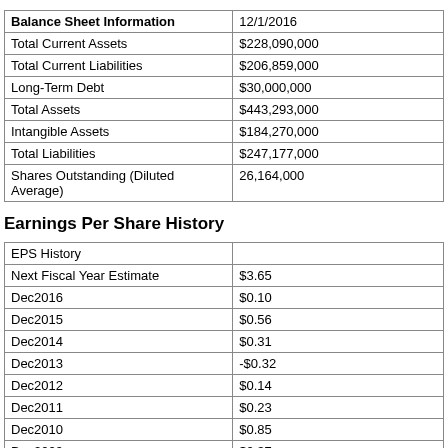| Balance Sheet Information | 12/1/2016 |
| --- | --- |
| Total Current Assets | $228,090,000 |
| Total Current Liabilities | $206,859,000 |
| Long-Term Debt | $30,000,000 |
| Total Assets | $443,293,000 |
| Intangible Assets | $184,270,000 |
| Total Liabilities | $247,177,000 |
| Shares Outstanding (Diluted Average) | 26,164,000 |
Earnings Per Share History
| EPS History |  |
| --- | --- |
| Next Fiscal Year Estimate | $3.65 |
| Dec2016 | $0.10 |
| Dec2015 | $0.56 |
| Dec2014 | $0.31 |
| Dec2013 | -$0.32 |
| Dec2012 | $0.14 |
| Dec2011 | $0.23 |
| Dec2010 | $0.85 |
| Dec2009 | $0.37 |